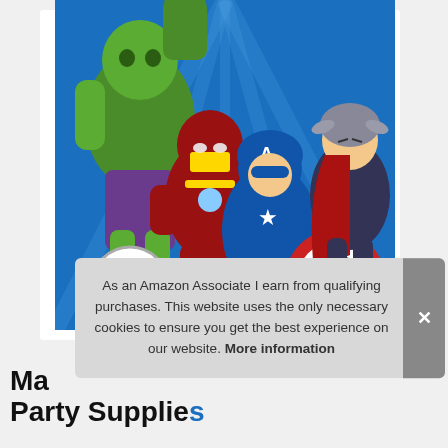[Figure (illustration): Marvel Avengers product image showing Hulk, Iron Man, Captain America, and Thor on a blue background with the Avengers logo]
As an Amazon Associate I earn from qualifying purchases. This website uses the only necessary cookies to ensure you get the best experience on our website. More information
Ma Party Supplies